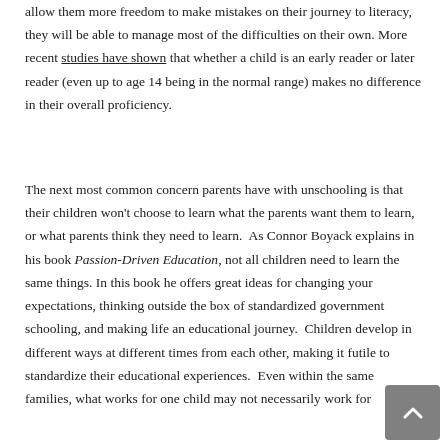allow them more freedom to make mistakes on their journey to literacy, they will be able to manage most of the difficulties on their own. More recent studies have shown that whether a child is an early reader or later reader (even up to age 14 being in the normal range) makes no difference in their overall proficiency.
The next most common concern parents have with unschooling is that their children won't choose to learn what the parents want them to learn, or what parents think they need to learn. As Connor Boyack explains in his book Passion-Driven Education, not all children need to learn the same things. In this book he offers great ideas for changing your expectations, thinking outside the box of standardized government schooling, and making life an educational journey. Children develop in different ways at different times from each other, making it futile to standardize their educational experiences. Even within the same families, what works for one child may not necessarily work for